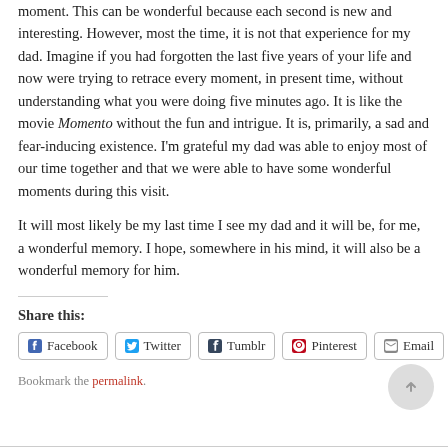moment.  This can be wonderful because each second is new and interesting.  However, most the time, it is not that experience for my dad.  Imagine if you had forgotten the last five years of your life and now were trying to retrace every moment, in present time, without understanding what you were doing five minutes ago.  It is like the movie Momento without the fun and intrigue.  It is, primarily, a sad and fear-inducing existence.  I'm grateful my dad was able to enjoy most of our time together and that we were able to have some wonderful moments during this visit.
It will most likely be my last time I see my dad and it will be, for me, a wonderful memory.  I hope, somewhere in his mind, it will also be a wonderful memory for him.
Share this:
Facebook  Twitter  Tumblr  Pinterest  Email
Bookmark the permalink.